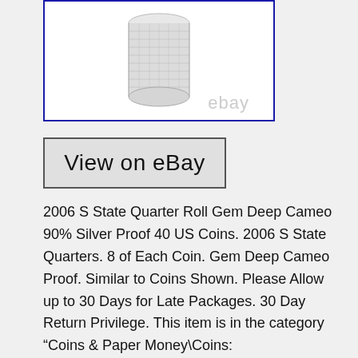[Figure (photo): A roll of silver coins wrapped in clear plastic/mesh wrapping, shown against a white background inside a blue-bordered box. An eBay watermark appears at the bottom of the image.]
[Figure (other): A button/link labeled 'View on eBay' with a light gray background and dark border.]
2006 S State Quarter Roll Gem Deep Cameo 90% Silver Proof 40 US Coins. 2006 S State Quarters. 8 of Each Coin. Gem Deep Cameo Proof. Similar to Coins Shown. Please Allow up to 30 Days for Late Packages. 30 Day Return Privilege. This item is in the category “Coins & Paper Money\Coins: US\Quarters\State Quarters (1999-2008)”. The seller is “davenders” and is located in this country: US. This item can be